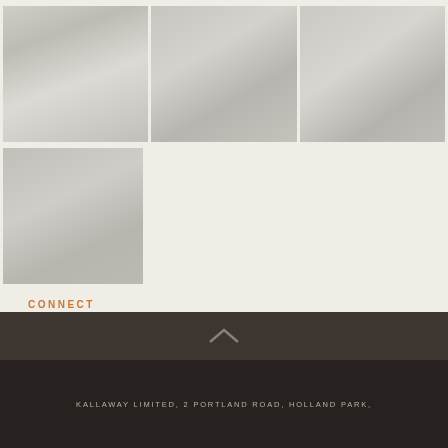[Figure (photo): Photo 1: Pendant light with white cone shade hanging in a room]
[Figure (photo): Photo 2: Glass display with hanging pendant lights and accessories]
[Figure (photo): Photo 3: Two pendant cone lights hanging near glass fixture]
[Figure (photo): Photo 4: Small pendant light above a metallic bowl, detail shot]
CONNECT
FOLLOW US
[Figure (infographic): Social media icons: globe/website, Facebook, Twitter, Instagram]
KALLAWAY LIMITED, 2 PORTLAND ROAD, HOLLAND PARK,